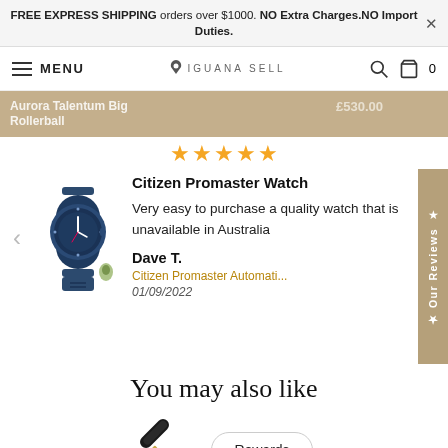FREE EXPRESS SHIPPING orders over $1000. NO Extra Charges.NO Import Duties.
MENU | IGUANA SELL | 0
Aurora Talentum Big | £530.00
Rollerball
★★★★★
Citizen Promaster Watch
Very easy to purchase a quality watch that is unavailable in Australia
Dave T.
Citizen Promaster Automati...
01/09/2022
You may also like
Rewards